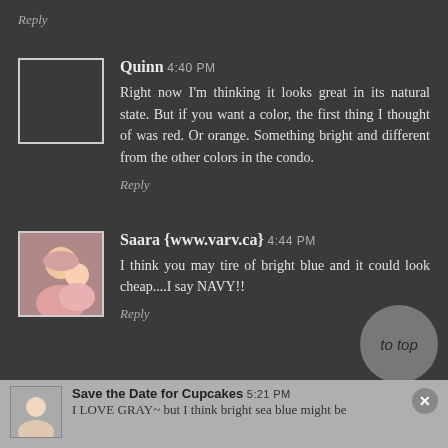Reply
Quinn 4:40 PM
Right now I'm thinking it looks great in its natural state. But if you want a color, the first thing I thought of was red. Or orange. Something bright and different from the other colors in the condo.
Reply
Saara {www.varv.ca} 4:44 PM
I think you may tire of bright blue and it could look cheap....I say NAVY!!
Reply
to top
Save the Date for Cupcakes 5:21 PM
I LOVE GRAY~ but I think bright sea blue might be